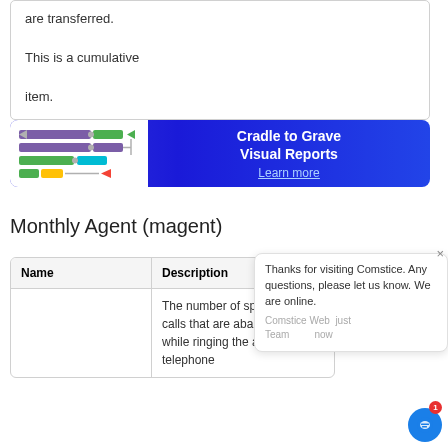are transferred. This is a cumulative item.
[Figure (infographic): Cradle to Grave Visual Reports banner with process flow diagram on left and text 'Cradle to Grave Visual Reports Learn more' on right]
Monthly Agent (magent)
| Name | Description |
| --- | --- |
|  | The number of split/skill ACD calls that are abandoned while ringing the agent's telephone |
Thanks for visiting Comstice. Any questions, please let us know. We are online.
Comstice Web Team  just now